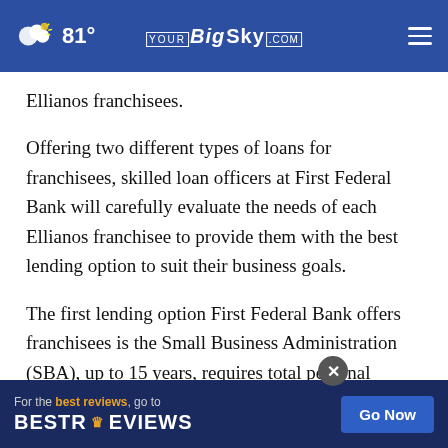81° | YOUR BigSky.COM
Ellianos franchisees.
Offering two different types of loans for franchisees, skilled loan officers at First Federal Bank will carefully evaluate the needs of each Ellianos franchisee to provide them with the best lending option to suit their business goals.
The first lending option First Federal Bank offers franchisees is the Small Business Administration (SBA), ... up to 15 years, requires total personal liquidity, and
[Figure (screenshot): Advertisement banner: 'For the best reviews, go to BESTREVIEWS' with a 'Go Now' button on dark navy background]